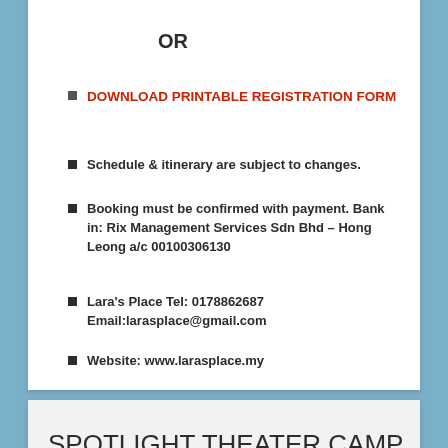OR
DOWNLOAD PRINTABLE REGISTRATION FORM
Schedule & itinerary are subject to changes.
Booking must be confirmed with payment. Bank in: Rix Management Services Sdn Bhd – Hong Leong a/c 00100306130
Lara's Place Tel: 0178862687 Email:larasplace@gmail.com
Website: www.larasplace.my
SPOTLIGHT THEATER CAMP (July or August)